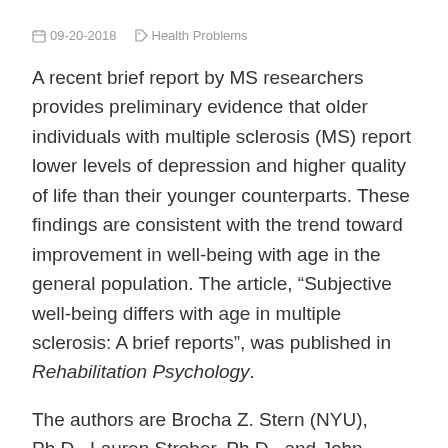09-20-2018   Health Problems
A recent brief report by MS researchers provides preliminary evidence that older individuals with multiple sclerosis (MS) report lower levels of depression and higher quality of life than their younger counterparts. These findings are consistent with the trend toward improvement in well-being with age in the general population. The article, “Subjective well-being differs with age in multiple sclerosis: A brief reports”, was published in Rehabilitation Psychology.
The authors are Brocha Z. Stern (NYU), Ph.D., Lauren Strober, Ph.D., and John DeLuca, Ph.D., (Kessler Foundation) and Yael Goverover, Ph.D. (NYU visiting professor at Kessler Foundation).